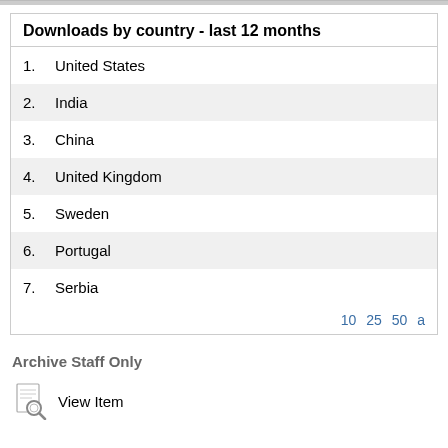Downloads by country - last 12 months
1. United States
2. India
3. China
4. United Kingdom
5. Sweden
6. Portugal
7. Serbia
10 25 50 a
Archive Staff Only
View Item
Disclaimer | Freedom of Information | Accessibility | Privacy | Advanced Search | Contact Us